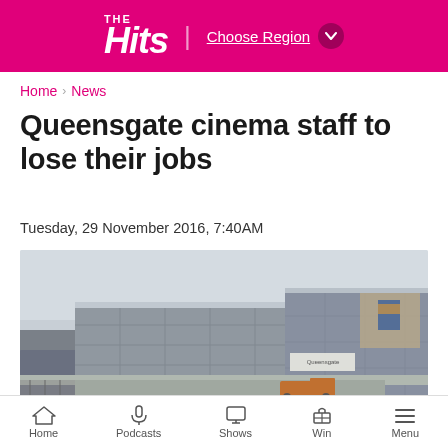THE Hits | Choose Region
Home › News
Queensgate cinema staff to lose their jobs
Tuesday, 29 November 2016, 7:40AM
[Figure (photo): Exterior photo of Queensgate cinema building, a modern grey multi-level structure with large window panels]
LIVE Listen on iHeartRadio
Home  Podcasts  Shows  Win  Menu